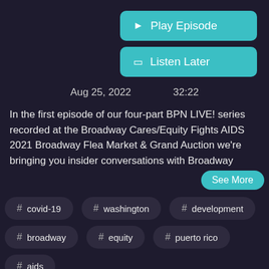▶ Play Episode
☐ Listen Later
Aug 25, 2022    32:22
In the first episode of our four-part BPN LIVE! series recorded at the Broadway Cares/Equity Fights AIDS 2021 Broadway Flea Market & Grand Auction we're bringing you insider conversations with Broadway
See More
# covid-19
# washington
# development
# broadway
# equity
# puerto rico
# aids